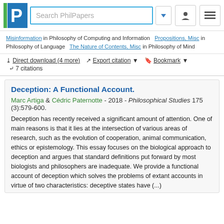[Figure (logo): PhilPapers logo and search bar header with navigation icons]
Misinformation in Philosophy of Computing and Information   Propositions, Misc in Philosophy of Language   The Nature of Contents, Misc in Philosophy of Mind
Direct download (4 more)   Export citation   Bookmark   7 citations
Deception: A Functional Account.
Marc Artiga & Cédric Paternotte - 2018 - Philosophical Studies 175 (3):579-600.
Deception has recently received a significant amount of attention. One of main reasons is that it lies at the intersection of various areas of research, such as the evolution of cooperation, animal communication, ethics or epistemology. This essay focuses on the biological approach to deception and argues that standard definitions put forward by most biologists and philosophers are inadequate. We provide a functional account of deception which solves the problems of extant accounts in virtue of two characteristics: deceptive states have (...)